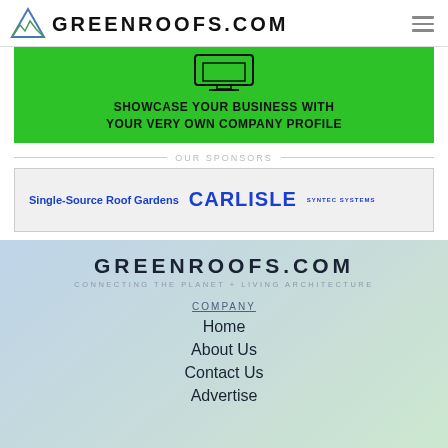GREENROOFS.COM
[Figure (illustration): Green banner advertisement with monitor icon and text: SHOWCASE YOUR BUSINESS WITH YOUR VERY OWN COMPANY PROFILE]
OUR SPONSORS
[Figure (logo): Carlisle SynTec Systems sponsor banner: Single-Source Roof Gardens CARLISLE SYNTEC SYSTEMS]
GREENROOFS.COM
CONNECTING THE PLANET + LIVING ARCHITECTURE
COMPANY
Home
About Us
Contact Us
Advertise